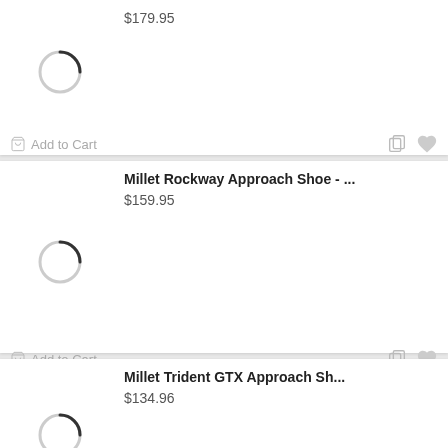$179.95
[Figure (illustration): Loading spinner circle icon]
Add to Cart
Millet Rockway Approach Shoe - ...
$159.95
[Figure (illustration): Loading spinner circle icon]
Add to Cart
Millet Trident GTX Approach Sh...
$134.96
[Figure (illustration): Loading spinner circle icon]